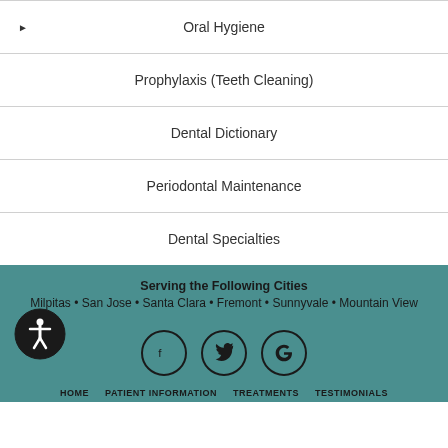Oral Hygiene
Prophylaxis (Teeth Cleaning)
Dental Dictionary
Periodontal Maintenance
Dental Specialties
Serving the Following Cities
Milpitas • San Jose • Santa Clara • Fremont • Sunnyvale • Mountain View
HOME  PATIENT INFORMATION  TREATMENTS  TESTIMONIALS